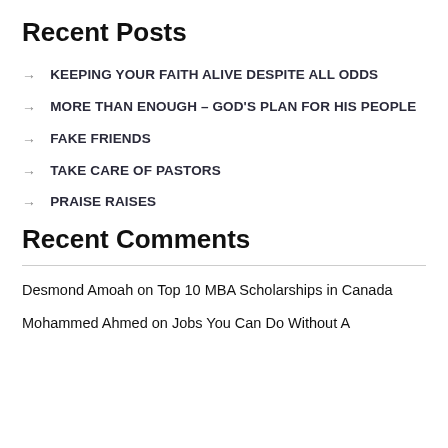Recent Posts
KEEPING YOUR FAITH ALIVE DESPITE ALL ODDS
MORE THAN ENOUGH – GOD'S PLAN FOR HIS PEOPLE
FAKE FRIENDS
TAKE CARE OF PASTORS
PRAISE RAISES
Recent Comments
Desmond Amoah on Top 10 MBA Scholarships in Canada
Mohammed Ahmed on Jobs You Can Do Without A